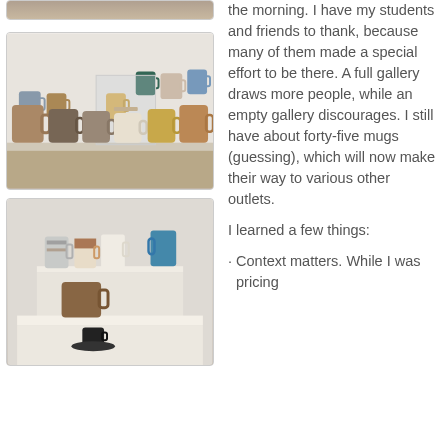[Figure (photo): Photo of ceramic mugs displayed on a white shelf in a gallery setting, various glazed mugs arranged in rows]
[Figure (photo): Photo of ceramic mugs on a white pedestal display, with a small black espresso cup and saucer in the foreground]
the morning. I have my students and friends to thank, because many of them made a special effort to be there. A full gallery draws more people, while an empty gallery discourages. I still have about forty-five mugs (guessing), which will now make their way to various other outlets.
I learned a few things:
Context matters. While I was pricing